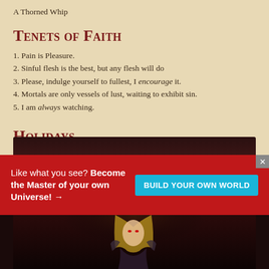A Thorned Whip
Tenets of Faith
1. Pain is Pleasure.
2. Sinful flesh is the best, but any flesh will do
3. Please, indulge yourself to fullest, I encourage it.
4. Mortals are only vessels of lust, waiting to exhibit sin.
5. I am always watching.
Holidays
The Shriving - 11th of Kaarst
[Figure (photo): Fantasy character illustration — armored female figure with red eyes and long blonde hair against a dark background]
Like what you see? Become the Master of your own Universe! →
BUILD YOUR OWN WORLD